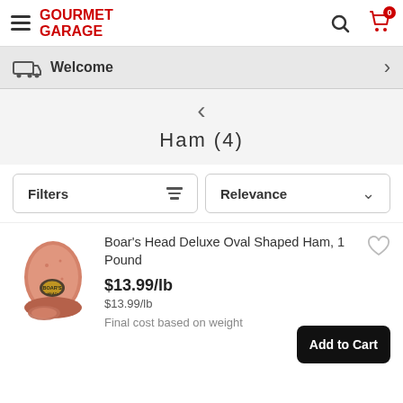GOURMET GARAGE
Welcome
Ham (4)
Filters | Relevance
Boar's Head Deluxe Oval Shaped Ham, 1 Pound
$13.99/lb
$13.99/lb
Final cost based on weight